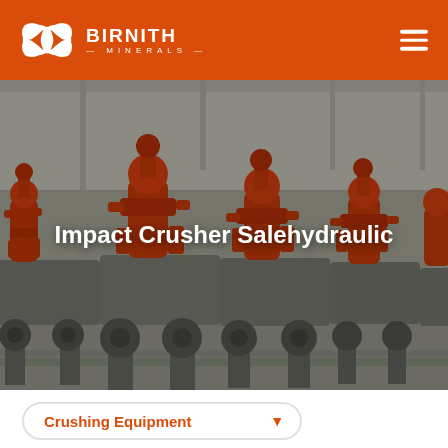BIRNITH MINERALS
[Figure (photo): Industrial impact crushers with red hydraulic components mounted on grey heavy machinery bases, arranged in a row inside a large factory/warehouse facility. Multiple units visible with red pneumatic or hydraulic actuator assemblies on top.]
Impact Crusher Salehydraulic
Crushing Equipment